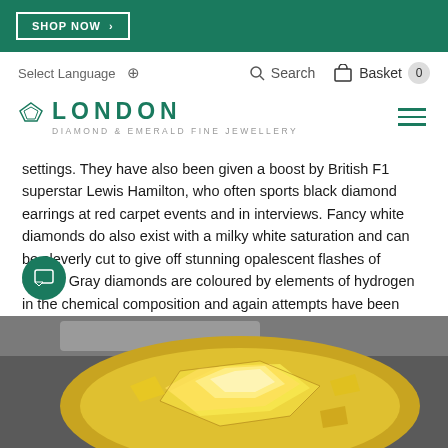SHOP NOW >
Select Language ÷   Search   Basket 0
LONDON DIAMOND & EMERALD FINE JEWELLERY
settings. They have also been given a boost by British F1 superstar Lewis Hamilton, who often sports black diamond earrings at red carpet events and in interviews. Fancy white diamonds do also exist with a milky white saturation and can be cleverly cut to give off stunning opalescent flashes of colour. Gray diamonds are coloured by elements of hydrogen in the chemical composition and again attempts have been made to market these stones as "chameleon" diamonds because their colour can appear to change slightly in different levels and angles of light.
[Figure (photo): Close-up photograph of a yellow/gold brilliant cut diamond or gemstone with facets reflecting light, set in a metal mounting, with grey background]